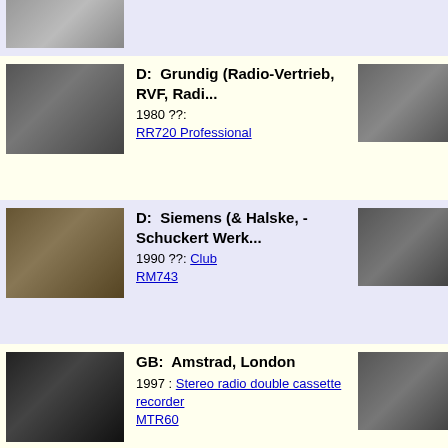[Figure (photo): Partial top entry showing cropped radio cassette recorder thumbnail, lavender background]
D: Grundig (Radio-Vertrieb, RVF, Radi... 1980 ??: RR720 Professional
D: Siemens (& Halske, -Schuckert Werk... 1990 ??: Club RM743
GB: Amstrad, London 1997 : Stereo radio double cassette recorder MTR60
J: Crown Radio Corp.; Tokyo 1986 : Stereo Radio Cassette Recorder CS-1100S